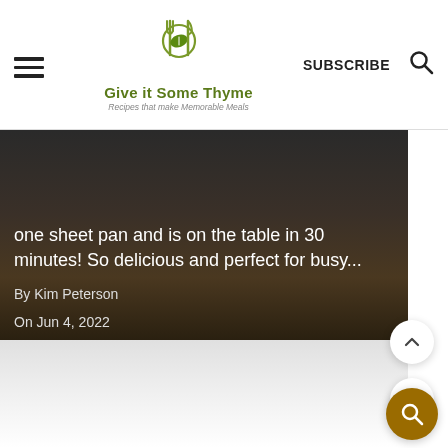Give it Some Thyme — Recipes that make Memorable Meals
one sheet pan and is on the table in 30 minutes! So delicious and perfect for busy...
By Kim Peterson
On Jun 4, 2022
[Figure (screenshot): Lower portion of article hero image fading to grey/white]